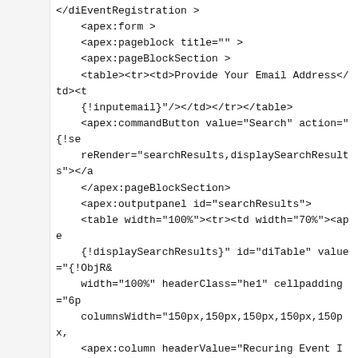&lt;/diEventRegistration&gt;
    &lt;apex:form &gt;
    &lt;apex:pageblock title="" &gt;
    &lt;apex:pageBlockSection &gt;
    &lt;table&gt;&lt;tr&gt;&lt;td&gt;Provide Your Email Address&lt;/td&gt;&lt;t
    {!inputemail}"/&gt;&lt;/td&gt;&lt;/tr&gt;&lt;/table&gt;
    &lt;apex:commandButton value="Search" action="{!se
    reRender="searchResults,displaySearchResults"&gt;&lt;/a
    &lt;/apex:pageBlockSection&gt;
    &lt;apex:outputpanel id="searchResults"&gt;
    &lt;table width="100%"&gt;&lt;tr&gt;&lt;td width="70%"&gt;&lt;ape
    {!displaySearchResults}" id="diTable" value="{!ObjR&
    width="100%" headerClass="he1" cellpadding="6p
    columnsWidth="150px,150px,150px,150px,150px,
    &lt;apex:column headerValue="Recuring Event Id" &gt;&lt;a
    {!IF(ISBLANK(idat.id), 'false', 'true')}"/&gt;
    &lt;/apex:column&gt;
    &lt;apex:column headerValue="Recuring Event Name'
    rendered="{!IF(ISBLANK(idat.Name), 'false', 'true')}
    &lt;/apex:column&gt;
    &lt;apex:column headerValue="Campus Contact" &gt;&lt;a
    {!idat.Campus_Contact__c}" rendered="{!IF(ISBLAN
    &lt;/apex:column&gt;